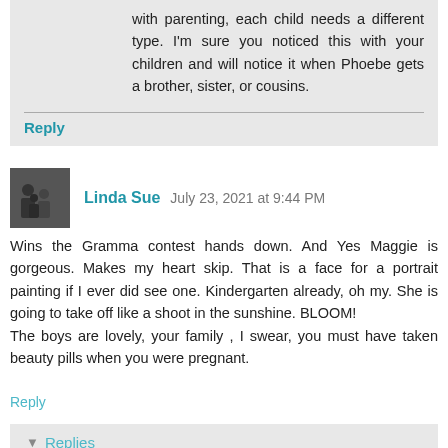with parenting, each child needs a different type. I'm sure you noticed this with your children and will notice it when Phoebe gets a brother, sister, or cousins.
Reply
Linda Sue  July 23, 2021 at 9:44 PM
Wins the Gramma contest hands down. And Yes Maggie is gorgeous. Makes my heart skip. That is a face for a portrait painting if I ever did see one. Kindergarten already, oh my. She is going to take off like a shoot in the sunshine. BLOOM!
The boys are lovely, your family , I swear, you must have taken beauty pills when you were pregnant.
Reply
Replies